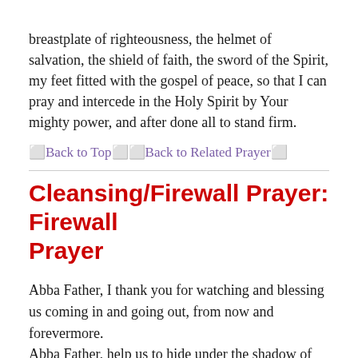breastplate of righteousness, the helmet of salvation, the shield of faith, the sword of the Spirit, my feet fitted with the gospel of peace, so that I can pray and intercede in the Holy Spirit by Your mighty power, and after done all to stand firm.
⬜Back to Top⬜⬜Back to Related Prayer⬜
Cleansing/Firewall Prayer: Firewall Prayer
Abba Father, I thank you for watching and blessing us coming in and going out, from now and forevermore.
Abba Father, help us to hide under the shadow of the Almighty, and cover us with Your wings.   I now plead the blood of Jesus Christ of Nazareth on myself, my entire family
(speak names of your family, and name the people, things,